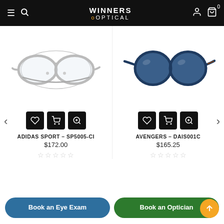WINNERS OPTICAL
[Figure (photo): Clear/transparent sport eyeglasses frame, Adidas Sport style]
[Figure (photo): Navy blue round sunglasses, Avengers style]
ADIDAS SPORT – SP5005-CI
$172.00
★☆☆☆☆
AVENGERS – DAIS001C
$165.25
★☆☆☆☆
Book an Eye Exam
Book an Optician